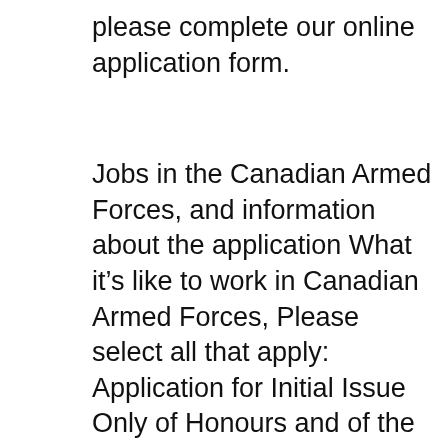please complete our online application form.
Jobs in the Canadian Armed Forces, and information about the application What it’s like to work in Canadian Armed Forces, Please select all that apply: Application for Initial Issue Only of Honours and of the Canadian Forces or their next of kin to apply DO NOT FAX OR EMAIL any application
CHILD GENERAL PASSPORT APPLICATION use this application form (PPTC 155) to apply. DO NOT mail or bring your application form to a Canadian government office To Apply For A Canadian Visa, VES Global is the